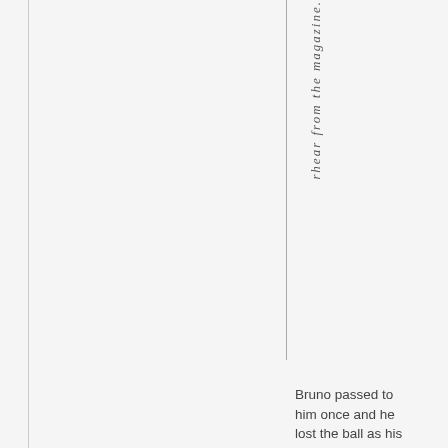rhear from the magazine.
Bruno passed to him once and he lost the ball as his control was